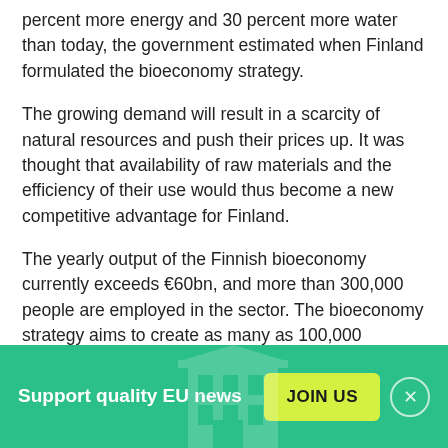percent more energy and 30 percent more water than today, the government estimated when Finland formulated the bioeconomy strategy.
The growing demand will result in a scarcity of natural resources and push their prices up. It was thought that availability of raw materials and the efficiency of their use would thus become a new competitive advantage for Finland.
The yearly output of the Finnish bioeconomy currently exceeds €60bn, and more than 300,000 people are employed in the sector. The bioeconomy strategy aims to create as many as 100,000 additional jobs in Finland
Support quality EU news  JOIN US